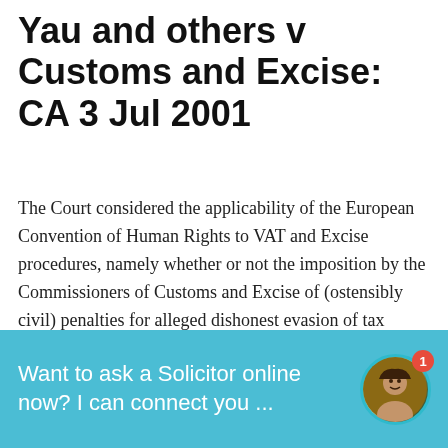Yau and others v Customs and Excise: CA 3 Jul 2001
The Court considered the applicability of the European Convention of Human Rights to VAT and Excise procedures, namely whether or not the imposition by the Commissioners of Customs and Excise of (ostensibly civil) penalties for alleged dishonest evasion of tax pursuant to S.60(1) of the Value Added Tax Act 1994 and s.8(1) of the Finance ... Continue reading
[Figure (photo): Partial image of an aircraft or vehicle with red and yellow coloring visible at the bottom of the content area]
Want to ask a Solicitor online now? I can connect you ...